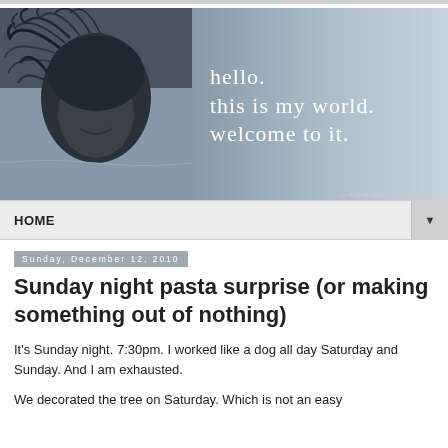[Figure (photo): Blog banner image with a person's face with wind-blown hair on the left half (black and white/blue toned), and text on the right half reading 'hello. this is my world. welcome to it.' with 'krismukey.com est. 2009' at bottom right]
HOME ▼
Sunday, December 12, 2010
Sunday night pasta surprise (or making something out of nothing)
It's Sunday night. 7:30pm. I worked like a dog all day Saturday and Sunday. And I am exhausted.
We decorated the tree on Saturday. Which is not an easy